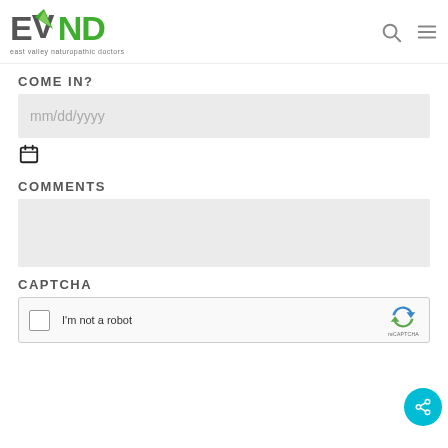EVND east valley naturopathic doctors
COME IN?
mm/dd/yyyy
COMMENTS
CAPTCHA
I'm not a robot
reCAPTCHA